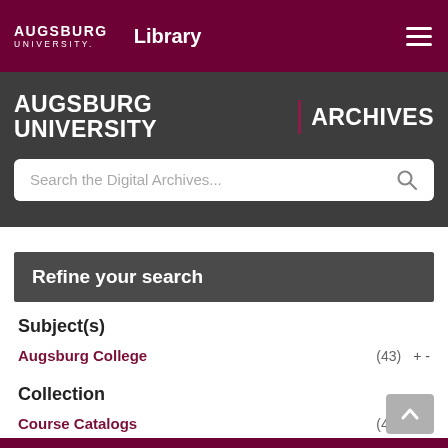AUGSBURG UNIVERSITY Library
AUGSBURG UNIVERSITY | ARCHIVES
[Figure (screenshot): Search box with placeholder text 'Search the Digital Archives...' and a search icon on the right]
Refine your search
Subject(s)
Augsburg College (43) + -
Collection
Course Catalogs (43) + -